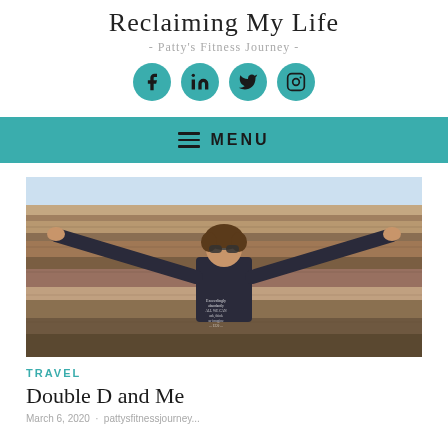Reclaiming My Life
- Patty's Fitness Journey -
[Figure (illustration): Four teal circular social media icon buttons: Facebook, LinkedIn, Twitter, Instagram]
☰ MENU
[Figure (photo): Woman standing with arms outstretched wide at a canyon overlook, wearing sunglasses and a black long-sleeve shirt with text on it, smiling at camera, rocky canyon landscape in background]
TRAVEL
Double D and Me
March 6, 2020 · pattysfitnessjourney...